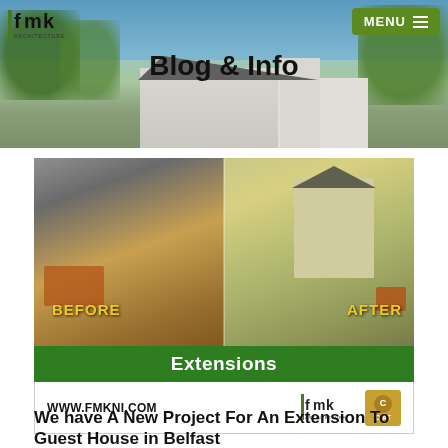Blog & Info
[Figure (photo): Before and after photos of a house extension project with green banner labeled 'Extensions' and footer showing www.fmkni.com, FMK Architecture logo, and CIAT logo]
We have A New Project For An Extension To Guest House in Belfast